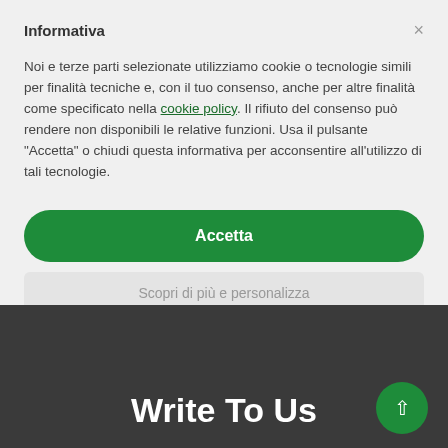Informativa
Noi e terze parti selezionate utilizziamo cookie o tecnologie simili per finalità tecniche e, con il tuo consenso, anche per altre finalità come specificato nella cookie policy. Il rifiuto del consenso può rendere non disponibili le relative funzioni. Usa il pulsante "Accetta" o chiudi questa informativa per acconsentire all'utilizzo di tali tecnologie.
Accetta
Scopri di più e personalizza
Write To Us